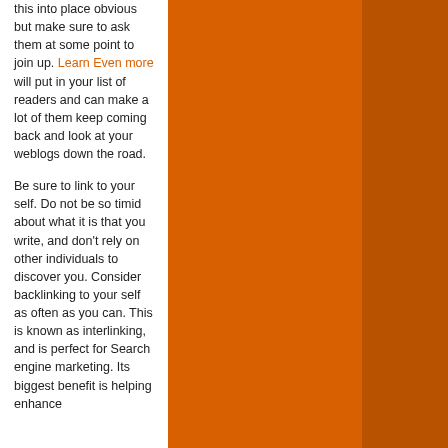this into place obvious but make sure to ask them at some point to join up. Learn Even more will put in your list of readers and can make a lot of them keep coming back and look at your weblogs down the road.

Be sure to link to your self. Do not be so timid about what it is that you write, and don't rely on other individuals to discover you. Consider backlinking to your self as often as you can. This is known as interlinking, and is perfect for Search engine marketing. Its biggest benefit is helping enhance